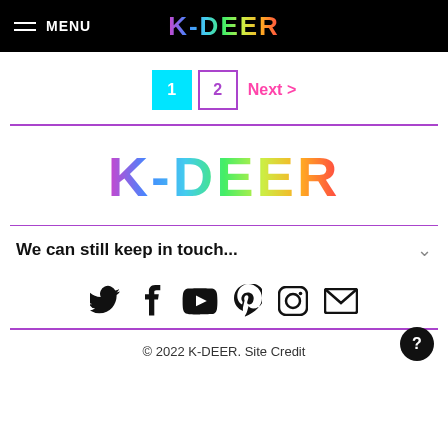MENU  K-DEER
1  2  Next >
[Figure (logo): K-DEER rainbow gradient logo, large centered]
We can still keep in touch...
[Figure (infographic): Social media icons: Twitter, Facebook, YouTube, Pinterest, Instagram, Email]
© 2022 K-DEER. Site Credit